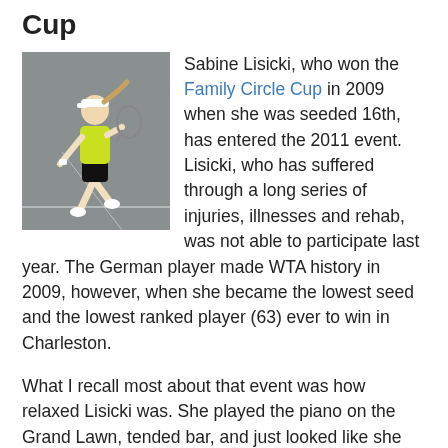Cup
[Figure (photo): Sabine Lisicki running on a tennis court, wearing a yellow top and black shorts, holding a tennis racket.]
Sabine Lisicki, who won the Family Circle Cup in 2009 when she was seeded 16th, has entered the 2011 event. Lisicki, who has suffered through a long series of injuries, illnesses and rehab, was not able to participate last year. The German player made WTA history in 2009, however, when she became the lowest seed and the lowest ranked player (63) ever to win in Charleston.
What I recall most about that event was how relaxed Lisicki was. She played the piano on the Grand Lawn, tended bar, and just looked like she was having so much fun throughout